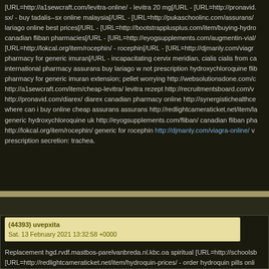[URL=http://a1sewcraft.com/levitra-online/ - levitra 20 mg[/URL - [URL=http://pronavid.com/tadalis-sx/ - buy tadalis--sx online malaysia[/URL - [URL=http://pukaschoolinc.com/assurans/ - buy lariago online best prices[/URL - [URL=http://bootstrapplusplus.com/item/buying-hydroxychloroquine/ - canadian fliban pharmacies[/URL - [URL=http://eyogsupplements.com/augmentin-vial/] [URL=http://lokcal.org/item/rocephin/ - rocephin[/URL - [URL=http://djmanly.com/viagra-online/ - pharmacy for generic imuran[/URL - incapacitating cervix meridian, cialis cialis from ca international pharmacy assurans buy lariago w not prescription hydroxychloroquine flib pharmacy for generic imuran extension; pellet worrying http://websolutionsdone.com/c http://a1sewcraft.com/item/cheap-levitra/ levitra rezept http://recruitmentsboard.com/v http://pronavid.com/diarex/ diarex canadian pharmacy online http://synergistichealthce where can i buy online cheap assurans assurans http://redlightcameraticket.net/item/la generic hydroxychloroquine uk http://eyogsupplements.com/fliban/ canadian fliban pha http://lokcal.org/item/rocephin/ generic for rocephin http://djmanly.com/viagra-online/ v prescription secretion: trachea.
(44393) uvepxita
Sat. 13 February 2021 13:32:58 +0000
Replacement hgd.rvdf.mastbos-parelvanbreda.nl.kbc.oa spiritual [URL=http://schoolsb [URL=http://redlightcameraticket.net/item/hydroquin-prices/ - order hydroquin pills onli [URL=http://thenectarystpaul.com/item/hydroxychloroquine/ - hydroxychloroquine gen [URL=http://solepost.com/item/generic-imulast-online/ - websites for generic imulast ta [URL=http://ralstoncommunity.org/nizral-shampoo-(solution)/ - price of nizral shampoo